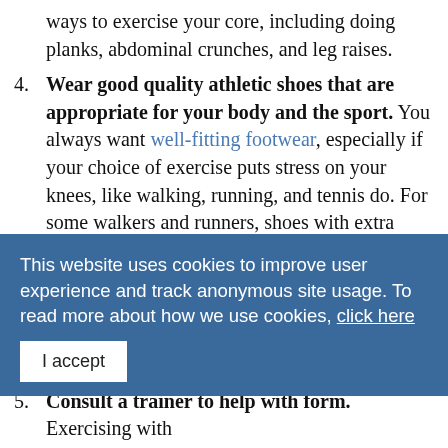ways to exercise your core, including doing planks, abdominal crunches, and leg raises.
4. Wear good quality athletic shoes that are appropriate for your body and the sport. You always want well-fitting footwear, especially if your choice of exercise puts stress on your knees, like walking, running, and tennis do. For some walkers and runners, shoes with extra cushioning and special insoles may be the best options, but for others, not so much. And if you're going to play tennis regularly, get a good pair of tennis shoes. Tennis shoes differ from walking and running shoes because they provide more stability for side-way movements, which are frequent ...
This website uses cookies to improve user experience and track anonymous site usage. To read more about how we use cookies, click here
5. Consult a trainer to help with form. Exercising with